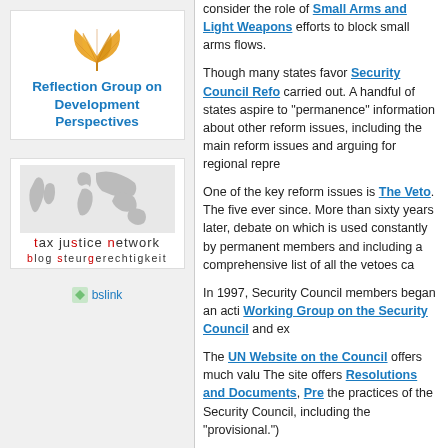[Figure (logo): Ginkgo leaf logo with text 'Reflection Group on Development Perspectives' in blue bold]
[Figure (logo): Tax Justice Network logo with world map graphic and 'blog steuergerechtigkeit' text]
[Figure (logo): bslink image link]
consider the role of Small Arms and Light Weapons efforts to block small arms flows.
Though many states favor Security Council Reform, carried out. A handful of states aspire to "permanence" information about other reform issues, including the main reform issues and arguing for regional representation.
One of the key reform issues is The Veto. The five ever since. More than sixty years later, debate on which is used constantly by permanent members and including a comprehensive list of all the vetoes cast.
In 1997, Security Council members began an active Working Group on the Security Council and ex...
The UN Website on the Council offers much valuable information. The site offers Resolutions and Documents, Pre... the practices of the Security Council, including the "provisional.")
Another very valuable source on Council matters is Council's program of work; it also publishes many...
The Council is a fascinating but often frustrating institution. Council's work than in the past, but the Council still...
. . . . . . . . . . . . . . . . . . . . . . . . . . . . . . . . . . . . . . . . . . . . . . . .